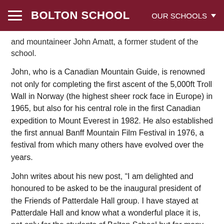BOLTON SCHOOL | OUR SCHOOLS
and mountaineer John Amatt, a former student of the school.
John, who is a Canadian Mountain Guide, is renowned not only for completing the first ascent of the 5,000ft Troll Wall in Norway (the highest sheer rock face in Europe) in 1965, but also for his central role in the first Canadian expedition to Mount Everest in 1982. He also established the first annual Banff Mountain Film Festival in 1976, a festival from which many others have evolved over the years.
John writes about his new post, “I am delighted and honoured to be asked to be the inaugural president of the Friends of Patterdale Hall group. I have stayed at Patterdale Hall and know what a wonderful place it is, not only for the students of Bolton School but for many other young people who use it each year, some from deprived and disadvantaged backgrounds. The outdoor learning opportunities on offer at Patterdale Hall are very similar to those which I experienced. It was from these confidence-building and developmental opportunities that my passion for developing others using the outdoors was